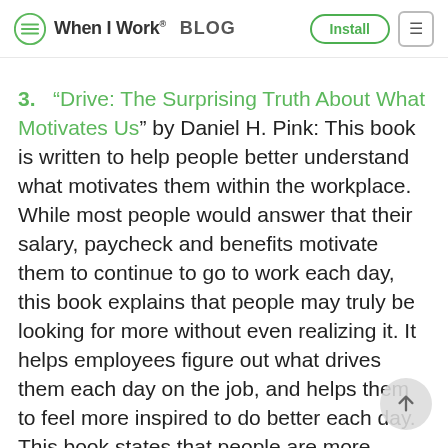When I Work® BLOG | Install | ≡
3. "Drive: The Surprising Truth About What Motivates Us" by Daniel H. Pink: This book is written to help people better understand what motivates them within the workplace. While most people would answer that their salary, paycheck and benefits motivate them to continue to go to work each day, this book explains that people may truly be looking for more without even realizing it. It helps employees figure out what drives them each day on the job, and helps them to feel more inspired to do better each day. This book states that people are more driven by creativity and connecting with others than they are by rewards and monetary gain.